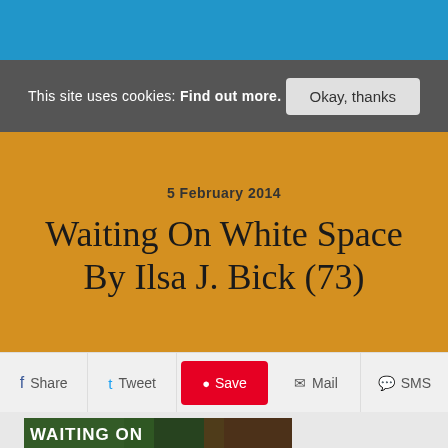This site uses cookies: Find out more.    Okay, thanks
5 February 2014
Waiting On White Space By Ilsa J. Bick (73)
Share   Tweet   Save   Mail   SMS
[Figure (photo): Book cover of 'Waiting On White Space' by Ilsa J. Bick, showing the text 'WAITING ON' overlaid on a dark, colorful background scene]